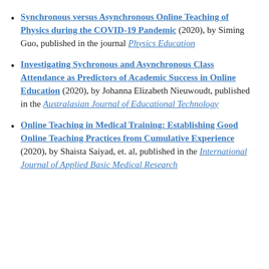Synchronous versus Asynchronous Online Teaching of Physics during the COVID-19 Pandemic (2020), by Siming Guo, published in the journal Physics Education
Investigating Sychronous and Asynchronous Class Attendance as Predictors of Academic Success in Online Education (2020), by Johanna Elizabeth Nieuwoudt, published in the Australasian Journal of Educational Technology
Online Teaching in Medical Training: Establishing Good Online Teaching Practices from Cumulative Experience (2020), by Shaista Saiyad, et. al, published in the International Journal of Applied Basic Medical Research